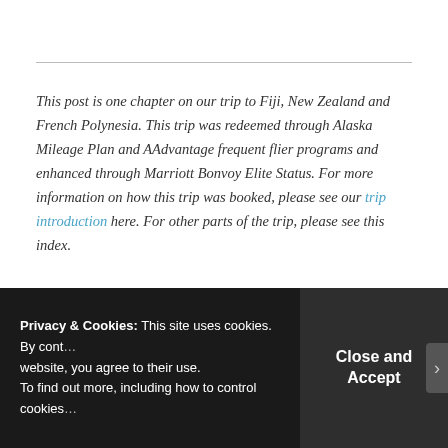This post is one chapter on our trip to Fiji, New Zealand and French Polynesia. This trip was redeemed through Alaska Mileage Plan and AAdvantage frequent flier programs and enhanced through Marriott Bonvoy Elite Status. For more information on how this trip was booked, please see our trip introduction here. For other parts of the trip, please see this index.
Privacy & Cookies: This site uses cookies. By continuing to use this website, you agree to their use. To find out more, including how to control cookies,